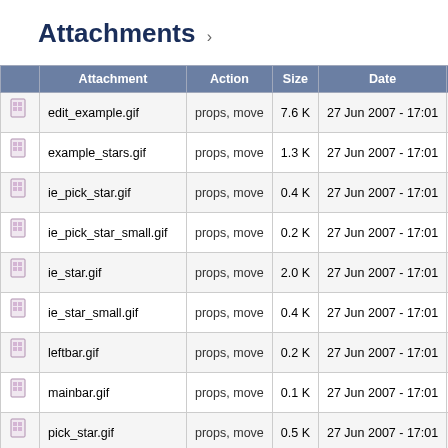Attachments
|  | Attachment | Action | Size | Date | W |
| --- | --- | --- | --- | --- | --- |
| [icon] | edit_example.gif | props, move | 7.6 K | 27 Jun 2007 - 17:01 | TWikiAdm |
| [icon] | example_stars.gif | props, move | 1.3 K | 27 Jun 2007 - 17:01 | TWikiAdm |
| [icon] | ie_pick_star.gif | props, move | 0.4 K | 27 Jun 2007 - 17:01 | TWikiAdm |
| [icon] | ie_pick_star_small.gif | props, move | 0.2 K | 27 Jun 2007 - 17:01 | TWikiAdm |
| [icon] | ie_star.gif | props, move | 2.0 K | 27 Jun 2007 - 17:01 | TWikiAdm |
| [icon] | ie_star_small.gif | props, move | 0.4 K | 27 Jun 2007 - 17:01 | TWikiAdm |
| [icon] | leftbar.gif | props, move | 0.2 K | 27 Jun 2007 - 17:01 | TWikiAdm |
| [icon] | mainbar.gif | props, move | 0.1 K | 27 Jun 2007 - 17:01 | TWikiAdm |
| [icon] | pick_star.gif | props, move | 0.5 K | 27 Jun 2007 - 17:01 | TWikiAdm |
| [icon] | pick_star_small.gif | props, move | 0.3 K | 27 Jun 2007 - 17:01 | TWikiAdm |
| [icon] | rating.css | props, move | 1.6 K | 27 Jun 2007 - 17:01 | TWikiAdm |
| [icon] | rating.js | props, move | 0.3 K | 27 Jun 2007 - 17:01 | TWikiAdm |
| [icon] | rightbar.gif | props, move | 0.2 K | 27 Jun 2007 - 17:01 | TWikiAdm |
| [icon] | star.gif | props, move | 2.6 K | 27 Jun 2007 - 17:01 | TWikiAdm |
| [icon] | ... | ... | ... | 27 Jun 2007 - 17:01 | TWikiAdm |